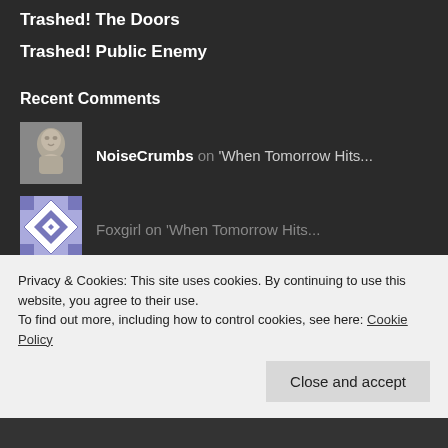Trashed! The Doors
Trashed! Public Enemy
Recent Comments
[Figure (photo): Stone sculpture avatar for NoiseCrumbs user]
NoiseCrumbs on 'When Tomorrow Hits...
[Figure (illustration): Blue and white geometric quilt pattern avatar for Foxgirl user]
Foxgirl on 'When Tomorrow Hits...
DiscoverNet | The Un... on 'Love Buzz' by Sho...
Privacy & Cookies: This site uses cookies. By continuing to use this website, you agree to their use.
To find out more, including how to control cookies, see here: Cookie Policy
Close and accept